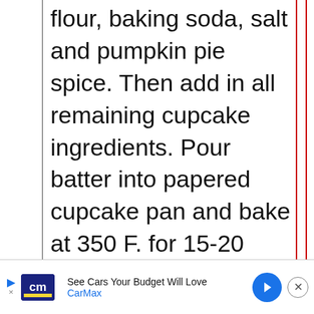flour, baking soda, salt and pumpkin pie spice. Then add in all remaining cupcake ingredients. Pour batter into papered cupcake pan and bake at 350 F. for 15-20 minutes or until cooked through.
[Figure (other): A square box with a thick black border containing an upward-pointing arrow icon, used as a scroll-to-top or back button.]
[Figure (other): Advertisement banner for CarMax: 'See Cars Your Budget Will Love' with CarMax logo (cm in blue rectangle), blue navigation arrow icon, and close button.]